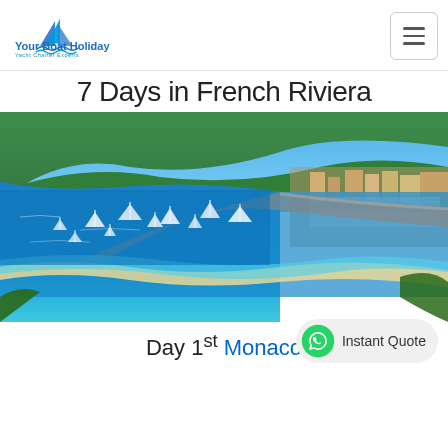Your Boat Holiday - Yacht Charter Experts
7 Days in French Riviera
[Figure (photo): Aerial view of French Riviera coastline showing a curved bay with turquoise water, sailboats anchored offshore, a waterfront road, and colorful buildings nestled among green hills]
Day 1st Monaco
Instant Quote